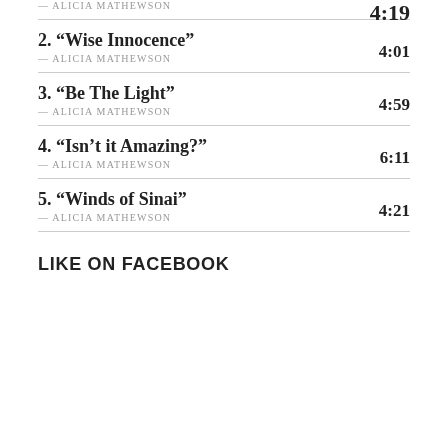— ALICIA MATHEWSON  4:19
2. “Wise Innocence” — ALICIA MATHEWSON  4:01
3. “Be The Light” — ALICIA MATHEWSON  4:59
4. “Isn't it Amazing?” — ALICIA MATHEWSON  6:11
5. “Winds of Sinai” — ALICIA MATHEWSON  4:21
LIKE ON FACEBOOK